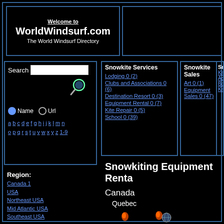Welcome to WorldWindsurf.com – The World Windsurf Directory
Search | Name | Url | a b c d e f g h i j k l m n o p q r s t u v w x y z 1-9
Region: Canada 1, USA, Northeast USA, Mid Atlantic USA, Southeast USA, Great Lakes USA, Central USA, Gulf States USA, Unknown, Rocky Mountains USA, Western USA, SouthwestUSA, Northwest USA, California USA, Hawaii, Caribbean 1, Belize, Costa Rica, Mexico, South America
Snowkite Services
Lodging 0 (2)
Clubs and Associations 0 (6)
Destination Resort 0 (3)
Equipment Rental 0 (7)
Kite Repair 0 (5)
School 0 (39)
Snowkite Sales
Art 0 (1)
Equipment Sales 0 (47)
Snowkiting Equipment Rental
Canada
Quebec
Caribbean